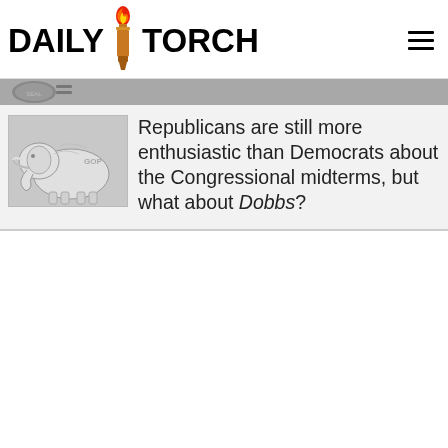DAILY TORCH
[Figure (logo): Daily Torch logo with torch icon between DAILY and TORCH text, and hamburger menu icon on right]
[Figure (illustration): Gray bar with circular seal/emblem image partially visible]
[Figure (illustration): Grayscale illustration of Republican elephant (GOP mammoth/elephant figure)]
Republicans are still more enthusiastic than Democrats about the Congressional midterms, but what about Dobbs?